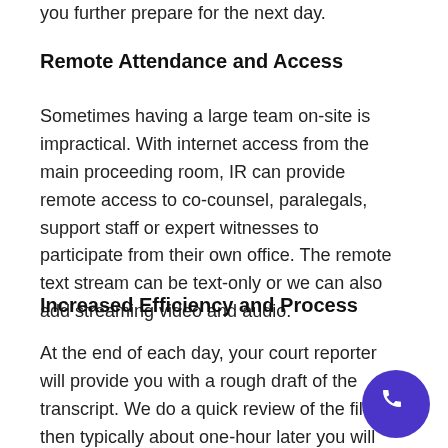you further prepare for the next day.
Remote Attendance and Access
Sometimes having a large team on-site is impractical. With internet access from the main proceeding room, IR can provide remote access to co-counsel, paralegals, support staff or expert witnesses to participate from their own office. The remote text stream can be text-only or we can also add streaming video and audio.
Increased Efficiency and Process
At the end of each day, your court reporter will provide you with a rough draft of the transcript. We do a quick review of the file, then typically about one-hour later you will have a cleaned-up draft. This gives you time well before the next day to prepare. Cost-effective and
[Figure (illustration): Purple circular button with white phone/handset icon]